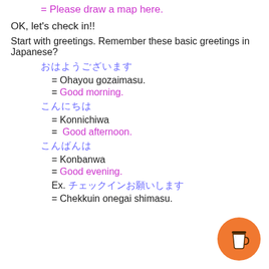= Please draw a map here.
OK, let's check in!!
Start with greetings. Remember these basic greetings in Japanese?
おはようございます
= Ohayou gozaimasu.
= Good morning.
こんにちは
= Konnichiwa
=  Good afternoon.
こんばんは
= Konbanwa
= Good evening.
Ex. チェックインお願いします
= Chekkuin onegai shimasu.